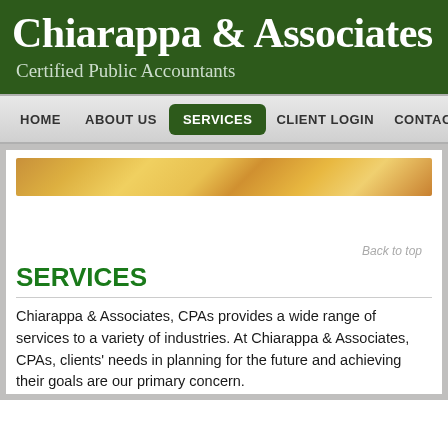Chiarappa & Associates
Certified Public Accountants
HOME   ABOUT US   SERVICES   CLIENT LOGIN   CONTACT
[Figure (photo): Decorative banner image with golden/amber tones]
Back to top
SERVICES
Chiarappa & Associates, CPAs provides a wide range of services to a variety of industries. At Chiarappa & Associates, CPAs, clients' needs in planning for the future and achieving their goals are our primary concern.